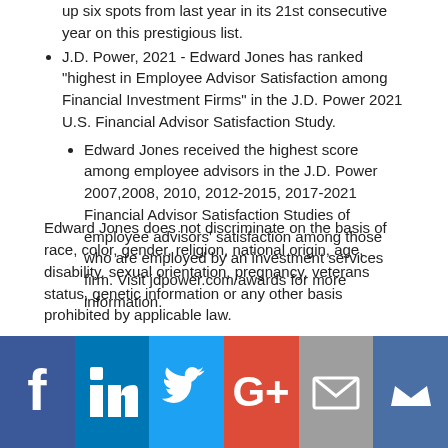up six spots from last year in its 21st consecutive year on this prestigious list.
J.D. Power, 2021 - Edward Jones has ranked "highest in Employee Advisor Satisfaction among Financial Investment Firms" in the J.D. Power 2021 U.S. Financial Advisor Satisfaction Study.
Edward Jones received the highest score among employee advisors in the J.D. Power 2007,2008, 2010, 2012-2015, 2017-2021 Financial Advisor Satisfaction Studies of employee advisors' satisfaction among those who are employed by an investment services firm. Visit jdpower.com/awards for more information.
Edward Jones does not discriminate on the basis of race, color, gender, religion, national origin, age, disability, sexual orientation, pregnancy, veterans status, genetic information or any other basis prohibited by applicable law.
[Figure (infographic): Social media sharing buttons: Facebook (blue), LinkedIn (blue), Twitter (light blue), Google+ (red/orange), Email (grey), Crown/Kred (dark blue)]